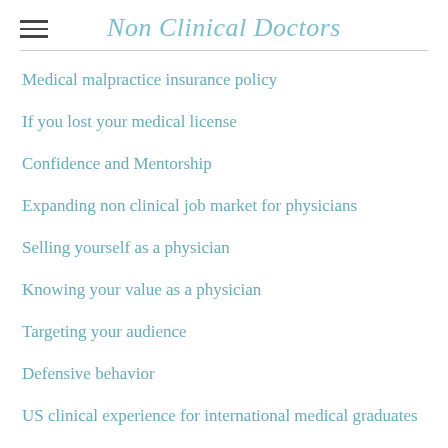Non Clinical Doctors
Medical malpractice insurance policy
If you lost your medical license
Confidence and Mentorship
Expanding non clinical job market for physicians
Selling yourself as a physician
Knowing your value as a physician
Targeting your audience
Defensive behavior
US clinical experience for international medical graduates
Physician review sites